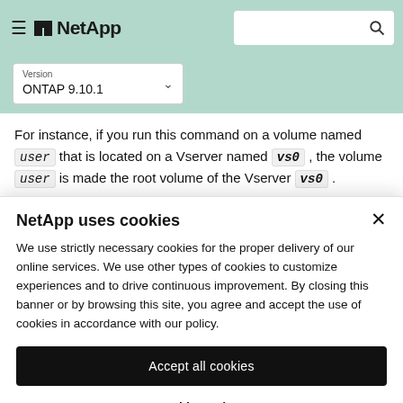NetApp
Version ONTAP 9.10.1
For instance, if you run this command on a volume named user that is located on a Vserver named vs0 , the volume user is made the root volume of the Vserver vs0 .
NetApp uses cookies
We use strictly necessary cookies for the proper delivery of our online services. We use other types of cookies to customize experiences and to drive continuous improvement. By closing this banner or by browsing this site, you agree and accept the use of cookies in accordance with our policy.
Accept all cookies
Cookie settings